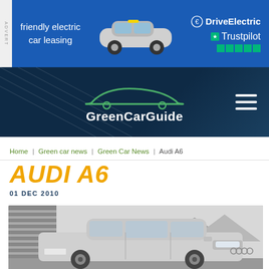[Figure (photo): Advertisement banner for DriveElectric friendly electric car leasing, showing a MINI Electric car, Trustpilot 5-star rating, blue background]
[Figure (logo): GreenCarGuide website header with car silhouette logo and hamburger menu icon on dark navy background]
Home | Green car news | Green Car News | Audi A6
AUDI A6
01 DEC 2010
[Figure (photo): Silver Audi A6 sedan photographed in front of architectural slats with mountains in background, black and white toned image]